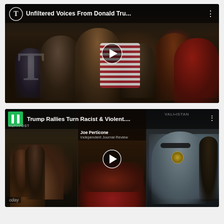[Figure (screenshot): YouTube video thumbnail for New York Times video titled 'Unfiltered Voices From Donald Tru...' showing a crowd of Trump rally attendees reacting with open mouths and raised hands. NYT logo in top-left corner. White play button in center.]
[Figure (screenshot): YouTube video thumbnail for HuffPost video titled 'Trump Rallies Turn Racist & Violent....' showing three panels: left panel shows Black protesters, middle panel shows altercation at rally with Joe Perticone/Independent Journal Review credit and white play button, right panel shows a police officer. HuffPost logo in top-left corner.]